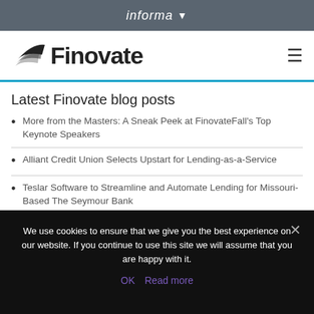informa
[Figure (logo): Finovate logo with stylized wing/arrow mark and hamburger menu icon]
Latest Finovate blog posts
More from the Masters: A Sneak Peek at FinovateFall's Top Keynote Speakers
Alliant Credit Union Selects Upstart for Lending-as-a-Service
Teslar Software to Streamline and Automate Lending for Missouri-Based The Seymour Bank
We use cookies to ensure that we give you the best experience on our website. If you continue to use this site we will assume that you are happy with it.
OK  Read more